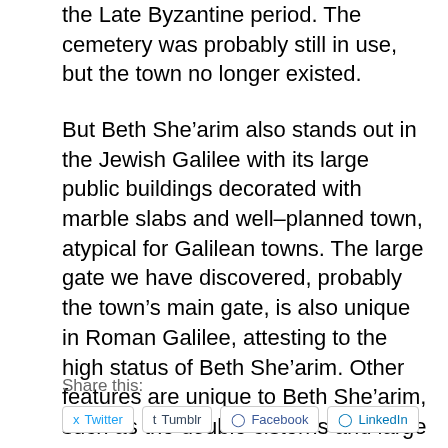the Late Byzantine period. The cemetery was probably still in use, but the town no longer existed.
But Beth She’arim also stands out in the Jewish Galilee with its large public buildings decorated with marble slabs and well-planned town, atypical for Galilean towns. The large gate we have discovered, probably the town’s main gate, is also unique in Roman Galilee, attesting to the high status of Beth She’arim. Other features are unique to Beth She’arim, such as the double cisterns and large reservoirs. The special place of Beth She’arim as a living Jewish town, the home of Rabbi Judah and the Sanhedrin, is now coming into better focus.
Share this:
Twitter Tumblr Facebook LinkedIn